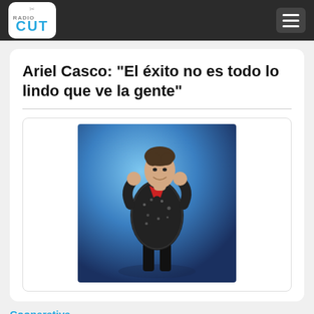RadioCUT
Ariel Casco: "El éxito no es todo lo lindo que ve la gente"
[Figure (photo): A male performer on stage wearing a black sequined jacket with a red collar, performing in front of a blue-lit background, holding or gesturing with his hands.]
Cooperativa
LA NOCHE RECIÉN COMIENZA